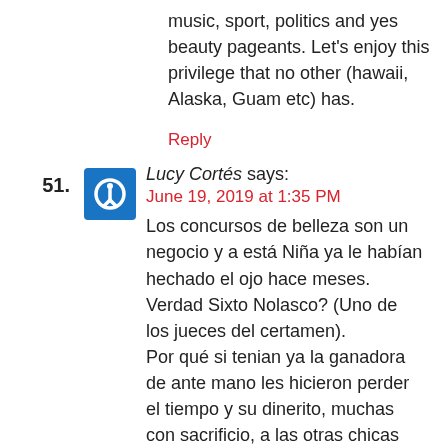music, sport, politics and yes beauty pageants. Let's enjoy this privilege that no other (hawaii, Alaska, Guam etc) has.
Reply
51. Lucy Cortés says:
June 19, 2019 at 1:35 PM
Los concursos de belleza son un negocio y a está Niña ya le habían hechado el ojo hace meses. Verdad Sixto Nolasco? (Uno de los jueces del certamen).
Por qué si tenian ya la ganadora de ante mano les hicieron perder el tiempo y su dinerito, muchas con sacrificio, a las otras chicas participantes? No tiene que ver nada con su gringolandia, es puro negocio. Esto tiene cocorícamo!
Reply
52.